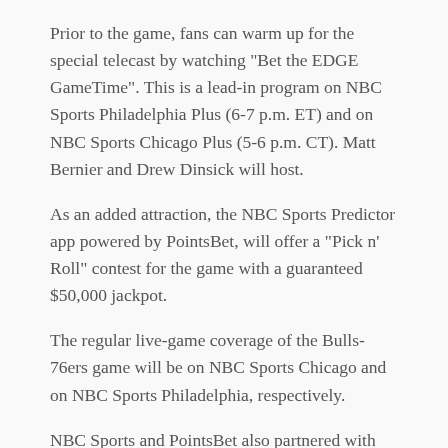Prior to the game, fans can warm up for the special telecast by watching "Bet the EDGE GameTime". This is a lead-in program on NBC Sports Philadelphia Plus (6-7 p.m. ET) and on NBC Sports Chicago Plus (5-6 p.m. CT). Matt Bernier and Drew Dinsick will host.
As an added attraction, the NBC Sports Predictor app powered by PointsBet, will offer a "Pick n' Roll" contest for the game with a guaranteed $50,000 jackpot.
The regular live-game coverage of the Bulls-76ers game will be on NBC Sports Chicago and on NBC Sports Philadelphia, respectively.
NBC Sports and PointsBet also partnered with the PGA TOUR to produce "BetCast" programming for golf. Their first event BetCast was the WM Phoenix Open.
Share
previous post